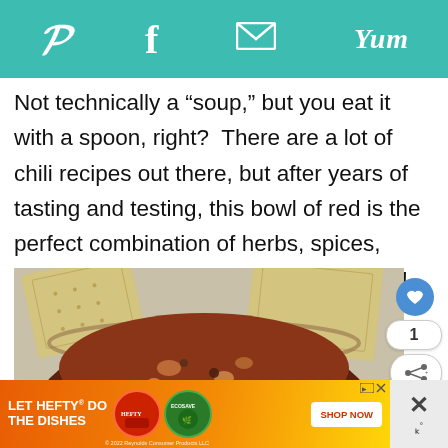Pinterest | Facebook | Email | Yum
Not technically a "soup," but you eat it with a spoon, right?  There are a lot of chili recipes out there, but after years of tasting and testing, this bowl of red is the perfect combination of herbs, spices, meat, and sauce. Love it, love it, love it!
[Figure (photo): A bowl of chili with crackers in the background, viewed from above]
[Figure (infographic): Advertisement banner: LET HEFTY DO THE DISHES with product images and SHOP NOW button. © 2022 Reynolds Consumer Products LLC]